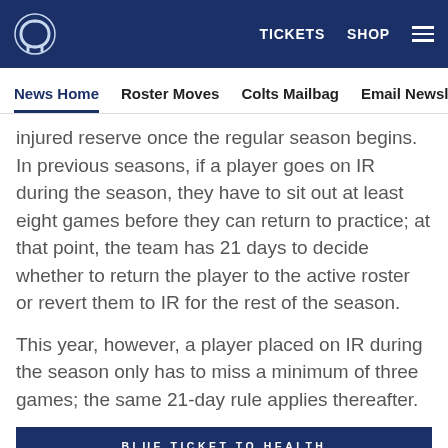Indianapolis Colts navigation — TICKETS  SHOP
News Home  Roster Moves  Colts Mailbag  Email Newsletter  U
injured reserve once the regular season begins. In previous seasons, if a player goes on IR during the season, they have to sit out at least eight games before they can return to practice; at that point, the team has 21 days to decide whether to return the player to the active roster or revert them to IR for the rest of the season.
This year, however, a player placed on IR during the season only has to miss a minimum of three games; the same 21-day rule applies thereafter.
[Figure (other): Blue Ticket to Health advertisement banner with dark navy background]
[Figure (other): Social sharing icons row: Facebook, Twitter, email, link]